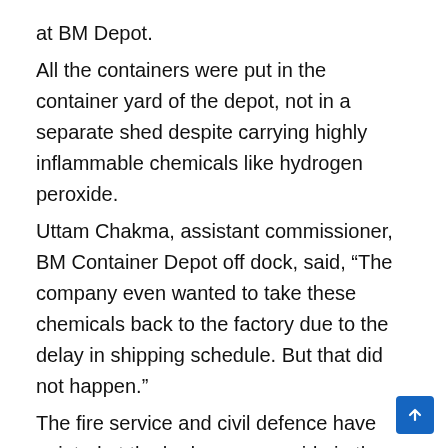at BM Depot.
All the containers were put in the container yard of the depot, not in a separate shed despite carrying highly inflammable chemicals like hydrogen peroxide.
Uttam Chakma, assistant commissioner, BM Container Depot off dock, said, “The company even wanted to take these chemicals back to the factory due to the delay in shipping schedule. But that did not happen.”
The fire service and civil defence have pointed at the hydrogen peroxide in the BM Container Depot for the huge fire. According to them, the fire started from a leak in a container filled with combustible chemicals.
Mohammad Monir Hossain, director (training) of the Fire Service and Civil Defense, said, “Oxygen helps to light fires and hydrogen can cause fire and explosion on its own when it comes in contact with air. There were no